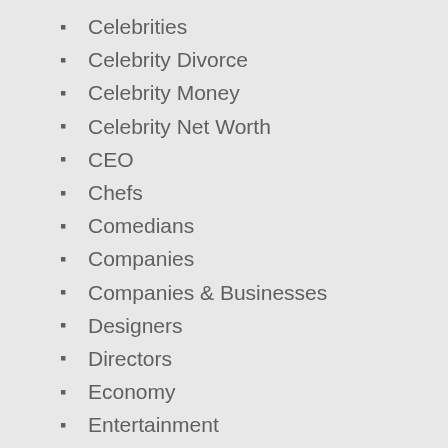Celebrities
Celebrity Divorce
Celebrity Money
Celebrity Net Worth
CEO
Chefs
Comedians
Companies
Companies & Businesses
Designers
Directors
Economy
Entertainment
Featured
Food
Instagrammers
Job & Salaries